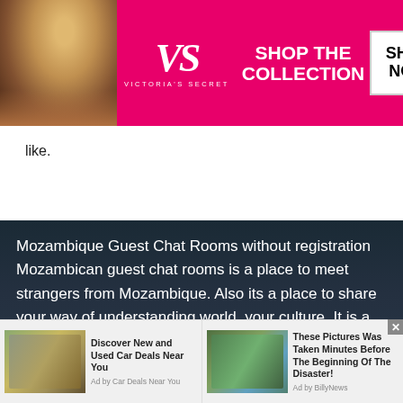[Figure (screenshot): Victoria's Secret advertisement banner with model, VS logo, 'SHOP THE COLLECTION' text, and 'SHOP NOW' button on pink background]
like.
Mozambique Guest Chat Rooms without registration Mozambican guest chat rooms is a place to meet strangers from Mozambique. Also its a place to share your way of understanding world, your culture. It is a place to discuss about your favorite thing, to know about the world and to meet
[Figure (screenshot): Two advertisement tiles at bottom: 'Discover New and Used Car Deals Near You' by Car Deals Near You, and 'These Pictures Was Taken Minutes Before The Beginning Of The Disaster!' by BillyNews]